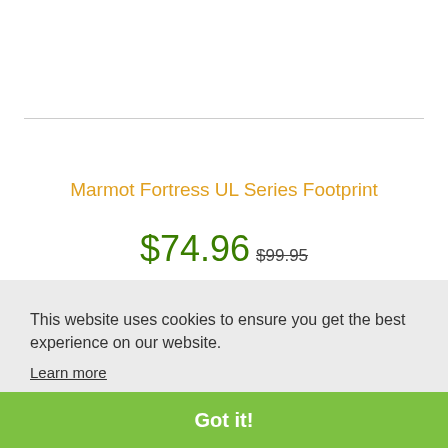Marmot Fortress UL Series Footprint
$74.96 $99.95
This website uses cookies to ensure you get the best experience on our website.
Learn more
Got it!